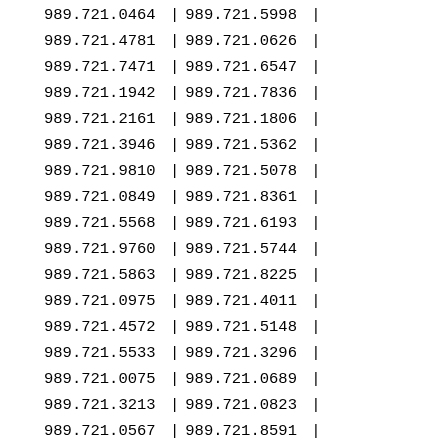| 989.721.0464 | | | 989.721.5998 | | |
| 989.721.4781 | | | 989.721.0626 | | |
| 989.721.7471 | | | 989.721.6547 | | |
| 989.721.1942 | | | 989.721.7836 | | |
| 989.721.2161 | | | 989.721.1806 | | |
| 989.721.3946 | | | 989.721.5362 | | |
| 989.721.9810 | | | 989.721.5078 | | |
| 989.721.0849 | | | 989.721.8361 | | |
| 989.721.5568 | | | 989.721.6193 | | |
| 989.721.9760 | | | 989.721.5744 | | |
| 989.721.5863 | | | 989.721.8225 | | |
| 989.721.0975 | | | 989.721.4011 | | |
| 989.721.4572 | | | 989.721.5148 | | |
| 989.721.5533 | | | 989.721.3296 | | |
| 989.721.0075 | | | 989.721.0689 | | |
| 989.721.3213 | | | 989.721.0823 | | |
| 989.721.0567 | | | 989.721.8591 | | |
| 989.721.6250 | | | 989.721.3704 | | |